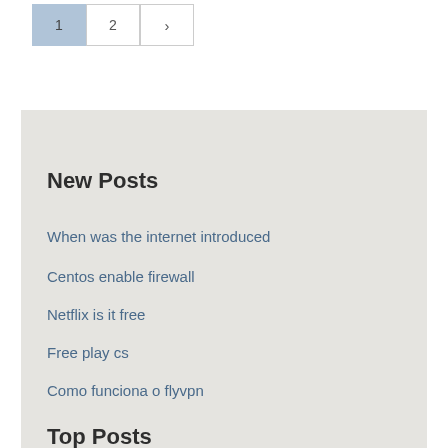1
2
>
New Posts
When was the internet introduced
Centos enable firewall
Netflix is it free
Free play cs
Como funciona o flyvpn
Top Posts